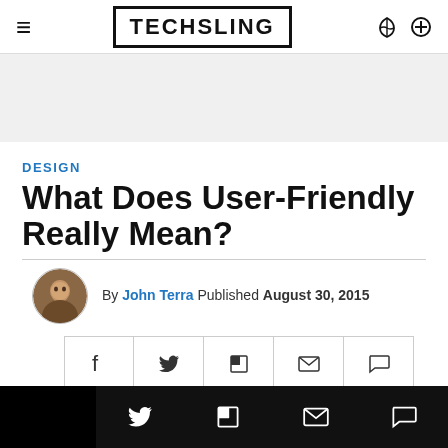TECHSLING
[Figure (other): Gray advertisement banner placeholder]
DESIGN
What Does User-Friendly Really Mean?
By John Terra Published August 30, 2015
[Figure (infographic): Social share buttons row: Facebook, Twitter, Flipboard, Email, Comment]
Bottom sticky bar with social share icons: Twitter, Flipboard, Email, Comment